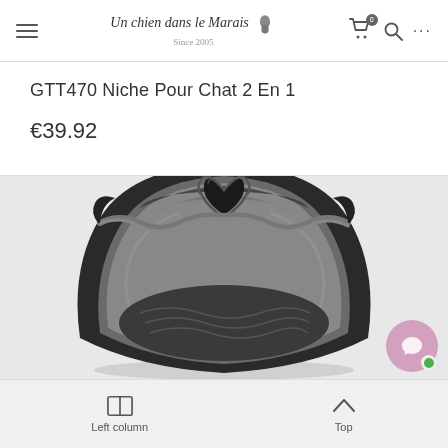Un chien dans le Marais – Since 2005
GTT470 Niche Pour Chat 2 En 1
€39.92
[Figure (photo): Black quilted faux-leather cat bed/house with plush grey fur inner lining and a small heart-shaped decorative cushion at the back, photographed from above at a slight angle against a light grey background.]
Left column | Top